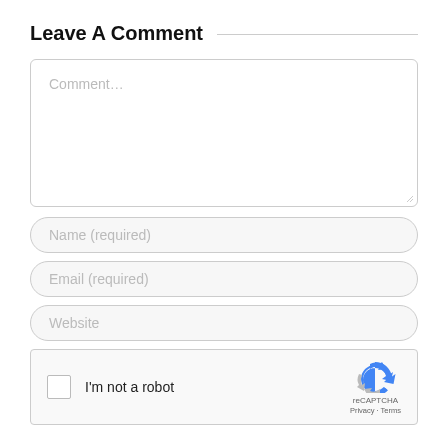Leave A Comment
[Figure (screenshot): Comment text area input field with placeholder text 'Comment...' and resize handle at bottom right]
[Figure (screenshot): Name input field with placeholder text 'Name (required)']
[Figure (screenshot): Email input field with placeholder text 'Email (required)']
[Figure (screenshot): Website input field with placeholder text 'Website']
[Figure (screenshot): reCAPTCHA widget with checkbox labeled 'I'm not a robot' and reCAPTCHA logo with Privacy and Terms links]